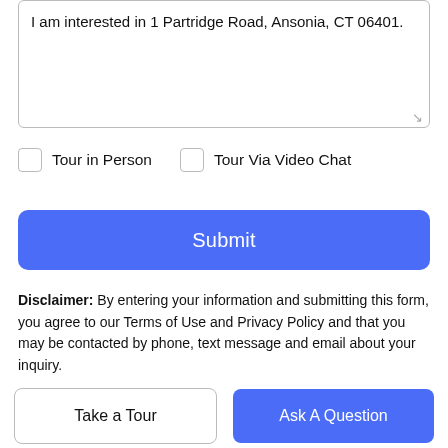I am interested in 1 Partridge Road, Ansonia, CT 06401.
Tour in Person
Tour Via Video Chat
Submit
Disclaimer: By entering your information and submitting this form, you agree to our Terms of Use and Privacy Policy and that you may be contacted by phone, text message and email about your inquiry.
The data relating to real estate for sale on this website appears in part through the SMARTMLS Internet Data Exchange
Take a Tour
Ask A Question